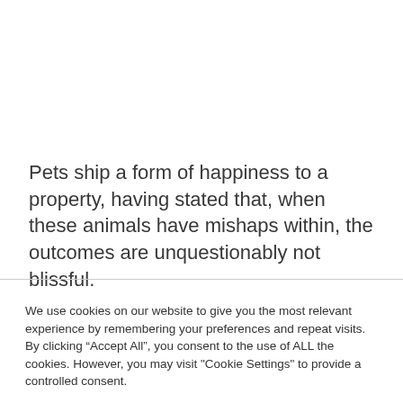Pets ship a form of happiness to a property, having stated that, when these animals have mishaps within, the outcomes are unquestionably not blissful.
We use cookies on our website to give you the most relevant experience by remembering your preferences and repeat visits. By clicking “Accept All”, you consent to the use of ALL the cookies. However, you may visit "Cookie Settings" to provide a controlled consent.